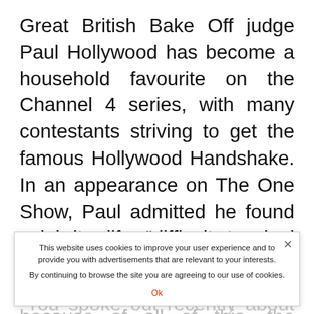Great British Bake Off judge Paul Hollywood has become a household favourite on the Channel 4 series, with many contestants striving to get the famous Hollywood Handshake. In an appearance on The One Show, Paul admitted he found celebrity life “difficult to deal with” which is why he very rarely attends events.
Touching on Paul’s success and his new
This website uses cookies to improve your user experience and to provide you with advertisements that are relevant to your interests. By continuing to browse the site you are agreeing to our use of cookies. Ok
“You spoke out recently about how you